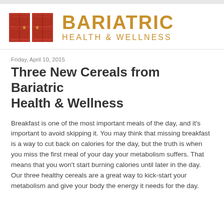[Figure (logo): Bariatric Health & Wellness logo with two red doors on the left and golden text reading BARIATRIC HEALTH & WELLNESS on the right]
Friday, April 10, 2015
Three New Cereals from Bariatric Health & Wellness
Breakfast is one of the most important meals of the day, and it's important to avoid skipping it. You may think that missing breakfast is a way to cut back on calories for the day, but the truth is when you miss the first meal of your day your metabolism suffers. That means that you won't start burning calories until later in the day. Our three healthy cereals are a great way to kick-start your metabolism and give your body the energy it needs for the day.